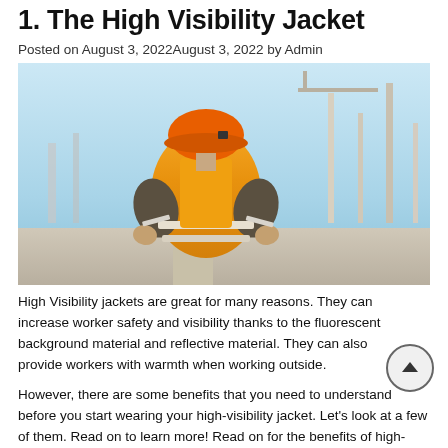1. The High Visibility Jacket
Posted on August 3, 2022August 3, 2022 by Admin
[Figure (photo): Construction worker seen from behind wearing an orange high-visibility jacket with reflective strips and an orange hard hat, standing at an industrial/construction site with cranes and structures in the background.]
High Visibility jackets are great for many reasons. They can increase worker safety and visibility thanks to the fluorescent background material and reflective material. They can also provide workers with warmth when working outside.
However, there are some benefits that you need to understand before you start wearing your high-visibility jacket. Let's look at a few of them. Read on to learn more! Read on for the benefits of high-visibility jackets.